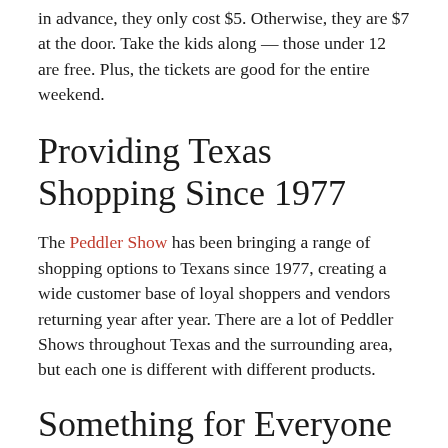in advance, they only cost $5. Otherwise, they are $7 at the door. Take the kids along — those under 12 are free. Plus, the tickets are good for the entire weekend.
Providing Texas Shopping Since 1977
The Peddler Show has been bringing a range of shopping options to Texans since 1977, creating a wide customer base of loyal shoppers and vendors returning year after year. There are a lot of Peddler Shows throughout Texas and the surrounding area, but each one is different with different products.
Something for Everyone
Even crabby shoppers love the Peddler Show. There's something for everybody — boutiques, seasonal floral